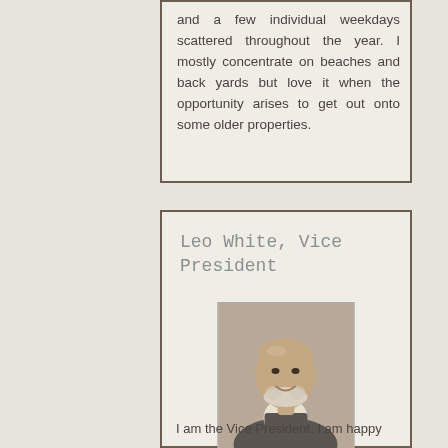and a few individual weekdays scattered throughout the year. I mostly concentrate on beaches and back yards but love it when the opportunity arises to get out onto some older properties.
Leo White, Vice President
[Figure (photo): Portrait photo of Leo White, a middle-aged man with a bald head and white beard, wearing a grey vest and purple tie, smiling at the camera.]
I am the Vice President. I am happy